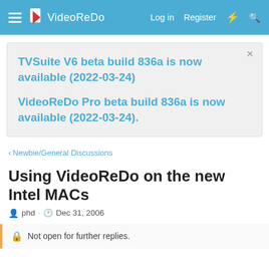VideoReDo — Log in | Register
TVSuite V6 beta build 836a is now available (2022-03-24)
VideoReDo Pro beta build 836a is now available (2022-03-24).
< Newbie/General Discussions
Using VideoReDo on the new Intel MACs
phd · Dec 31, 2006
Not open for further replies.